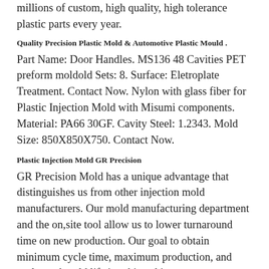millions of custom, high quality, high tolerance plastic parts every year.
Quality Precision Plastic Mold & Automotive Plastic Mould .
Part Name: Door Handles. MS136 48 Cavities PET preform moldold Sets: 8. Surface: Eletroplate Treatment. Contact Now. Nylon with glass fiber for Plastic Injection Mold with Misumi components. Material: PA66 30GF. Cavity Steel: 1.2343. Mold Size: 850X850X750. Contact Now.
Plastic Injection Mold GR Precision
GR Precision Mold has a unique advantage that distinguishes us from other injection mold manufacturers. Our mold manufacturing department and the on,site tool allow us to lower turnaround time on new production. Our goal to obtain minimum cycle time, maximum production, and prolonged mold life is achieved in one